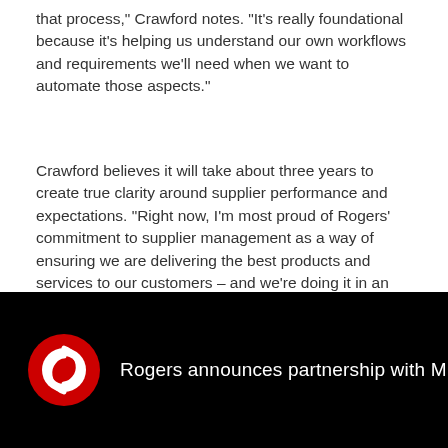that process," Crawford notes. "It's really foundational because it's helping us understand our own workflows and requirements we'll need when we want to automate those aspects."
Crawford believes it will take about three years to create true clarity around supplier performance and expectations. "Right now, I'm most proud of Rogers' commitment to supplier management as a way of ensuring we are delivering the best products and services to our customers – and we're doing it in an ethical and socially responsible way."
[Figure (screenshot): Video thumbnail with black background showing Rogers logo (red circular swirl icon) and text 'Rogers announces partnership with MLSE Lau...' in white]